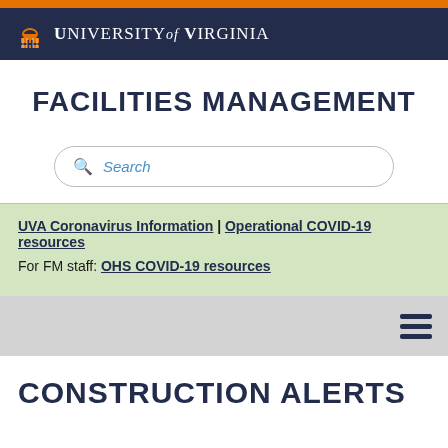University of Virginia
FACILITIES MANAGEMENT
Search
UVA Coronavirus Information | Operational COVID-19 resources
For FM staff: OHS COVID-19 resources
CONSTRUCTION ALERTS